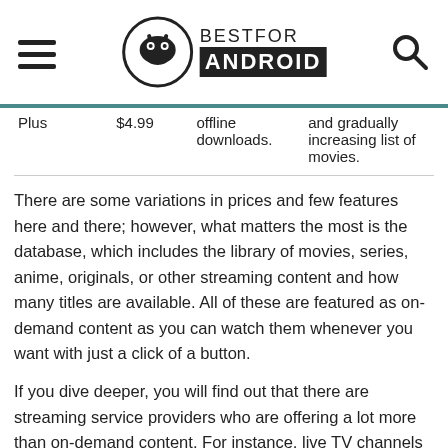BESTFOR ANDROID
| Plus | $4.99 | offline downloads. | and gradually increasing list of movies. |
There are some variations in prices and few features here and there; however, what matters the most is the database, which includes the library of movies, series, anime, originals, or other streaming content and how many titles are available. All of these are featured as on-demand content as you can watch them whenever you want with just a click of a button.
If you dive deeper, you will find out that there are streaming service providers who are offering a lot more than on-demand content. For instance, live TV channels for sports, news, lifestyle, drama, and documentary.